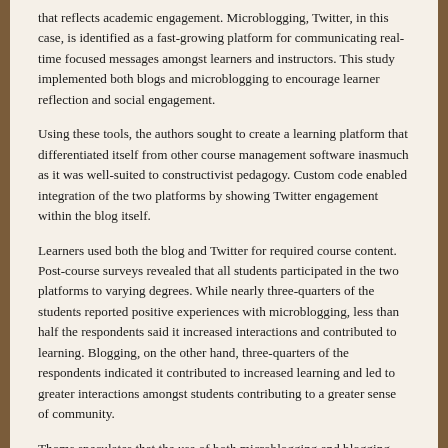that reflects academic engagement. Microblogging, Twitter, in this case, is identified as a fast-growing platform for communicating real-time focused messages amongst learners and instructors. This study implemented both blogs and microblogging to encourage learner reflection and social engagement.
Using these tools, the authors sought to create a learning platform that differentiated itself from other course management software inasmuch as it was well-suited to constructivist pedagogy. Custom code enabled integration of the two platforms by showing Twitter engagement within the blog itself.
Learners used both the blog and Twitter for required course content. Post-course surveys revealed that all students participated in the two platforms to varying degrees. While nearly three-quarters of the students reported positive experiences with microblogging, less than half the respondents said it increased interactions and contributed to learning. Blogging, on the other hand, three-quarters of the respondents indicated it contributed to increased learning and led to greater interactions amongst students contributing to a greater sense of community.
Thoms speculates that the use of both microblogging and blogging platforms in one course may have diluted the success of any one of